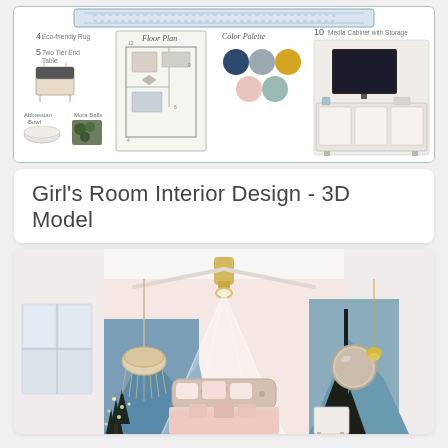[Figure (illustration): Interior design moodboard showing furniture items (end table, accessories bowl, Mora balls), a floor plan, color palette swatches (navy, gray, mustard, blush, sage), and a media cabinet with TV. Items are numbered 4, 5, 10.]
Girl's Room Interior Design - 3D Model
[Figure (photo): 3D rendered photo of a girl's bedroom interior featuring a canopy bed with pink bedding, mountain/forest mural wallpaper, macrame hanging chair, gold ceiling fan with light, round mirror, and white furniture.]